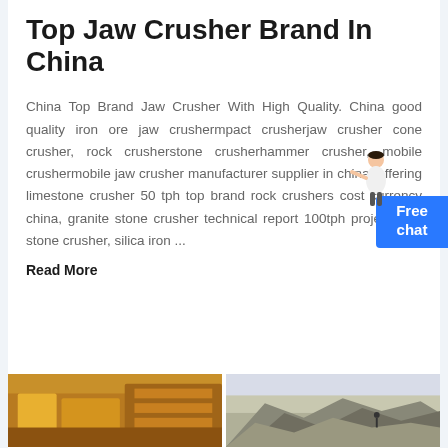Top Jaw Crusher Brand In China
China Top Brand Jaw Crusher With High Quality. China good quality iron ore jaw crushermpact crusherjaw crusher cone crusher, rock crusherstone crusherhammer crusher, mobile crushermobile jaw crusher manufacturer supplier in china, offering limestone crusher 50 tph top brand rock crushers cost currency china, granite stone crusher technical report 100tph project cost stone crusher, silica iron ...
Read More
[Figure (photo): Photo of jaw crusher machinery with yellow metal frame components]
[Figure (photo): Photo of crushed rock/stone pile outdoors]